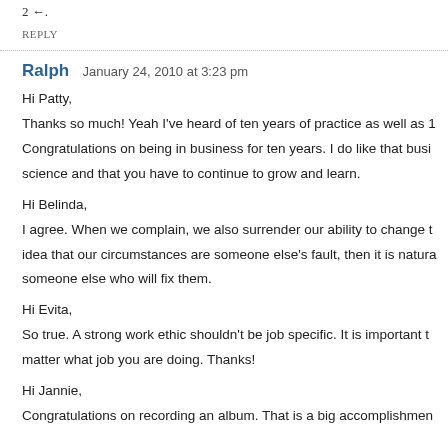2 ←.
REPLY
Ralph   January 24, 2010 at 3:23 pm
Hi Patty,
Thanks so much! Yeah I've heard of ten years of practice as well as 1...
Congratulations on being in business for ten years. I do like that busi...
science and that you have to continue to grow and learn.
Hi Belinda,
I agree. When we complain, we also surrender our ability to change t...
idea that our circumstances are someone else's fault, then it is natura...
someone else who will fix them.
Hi Evita,
So true. A strong work ethic shouldn't be job specific. It is important t...
matter what job you are doing. Thanks!
Hi Jannie,
Congratulations on recording an album. That is a big accomplishmen...